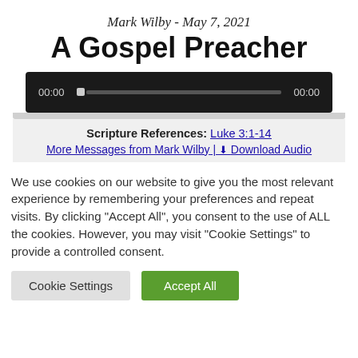Mark Wilby - May 7, 2021
A Gospel Preacher
[Figure (screenshot): Audio player with dark background showing 00:00 timestamp on left, a progress bar with a thumb slider, and 00:00 on the right]
Scripture References: Luke 3:1-14
More Messages from Mark Wilby | ⬇ Download Audio
We use cookies on our website to give you the most relevant experience by remembering your preferences and repeat visits. By clicking "Accept All", you consent to the use of ALL the cookies. However, you may visit "Cookie Settings" to provide a controlled consent.
Cookie Settings
Accept All